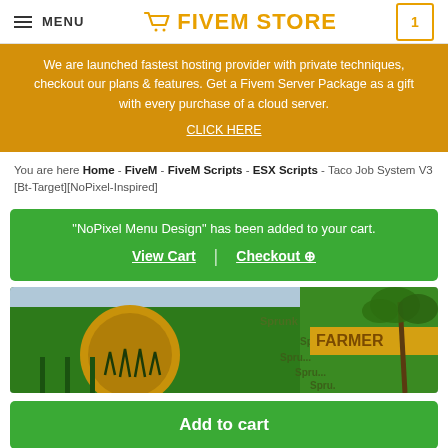MENU | FIVEM STORE | 1
We are launched fastest hosting provider with private techniques, checkout our plans & features. Get a Fivem Server Package as a gift with every purchase of a cloud server. CLICK HERE
You are here Home - FiveM - FiveM Scripts - ESX Scripts - Taco Job System V3 [Bt-Target][NoPixel-Inspired]
"NoPixel Menu Design" has been added to your cart. View Cart | Checkout →
[Figure (photo): Product image showing a green and gold themed store/job scene from FiveM game with Sprunk branding]
Add to cart